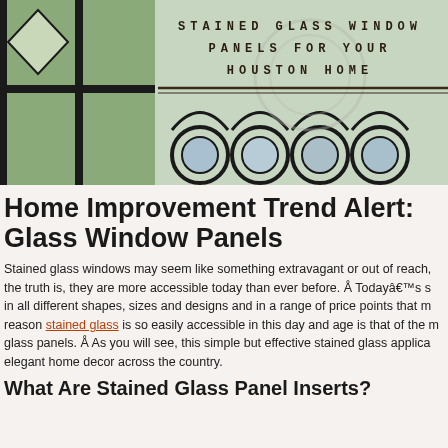[Figure (photo): Stained glass window panels header image with decorative geometric patterns in clear/frosted glass with black leading, overlaid with text title 'STAINED GLASS WINDOW PANELS FOR YOUR HOUSTON HOME' in spaced monospace lettering]
Home Improvement Trend Alert: Stained Glass Window Panels
Stained glass windows may seem like something extravagant or out of reach, but the truth is, they are more accessible today than ever before. Å Todayâ€™s s in all different shapes, sizes and designs and in a range of price points that m reason stained glass is so easily accessible in this day and age is that of the m glass panels. Å As you will see, this simple but effective stained glass applica elegant home decor across the country.
What Are Stained Glass Panel Inserts?